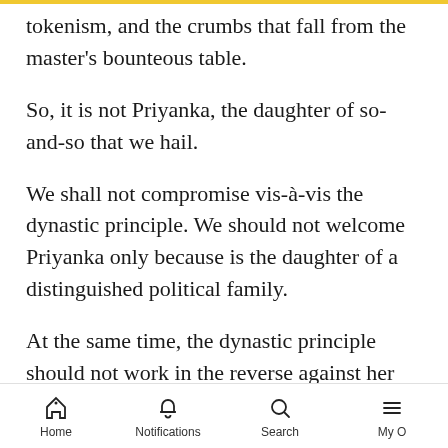tokenism, and the crumbs that fall from the master's bounteous table.
So, it is not Priyanka, the daughter of so-and-so that we hail.
We shall not compromise vis-à-vis the dynastic principle. We should not welcome Priyanka only because is the daughter of a distinguished political family.
At the same time, the dynastic principle should not work in the reverse against her either. She should not be discredited for where she was born, which she could not have helped.
Home   Notifications   Search   My O